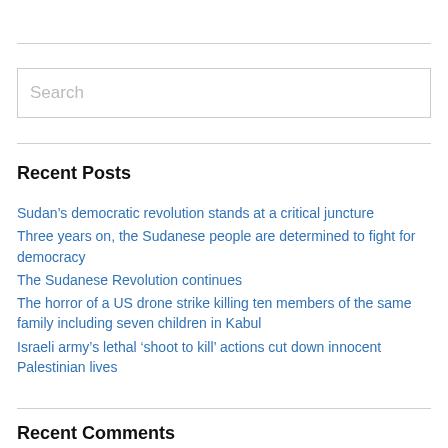[Figure (other): Search input box with placeholder text 'Search']
Recent Posts
Sudan’s democratic revolution stands at a critical juncture
Three years on, the Sudanese people are determined to fight for democracy
The Sudanese Revolution continues
The horror of a US drone strike killing ten members of the same family including seven children in Kabul
Israeli army’s lethal ‘shoot to kill’ actions cut down innocent Palestinian lives
Recent Comments